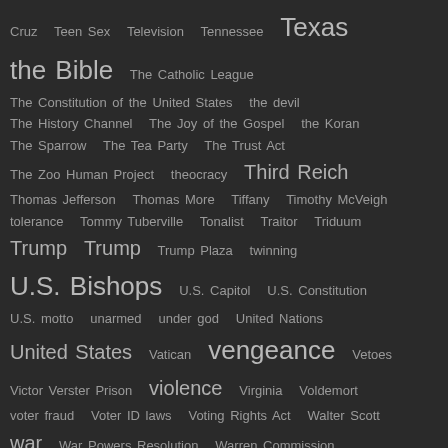Cruz  Teen Sex  Television  Tennessee  Texas  the Bible  The Catholic League  The Constitution of the United States  the devil  The History Channel  The Joy of the Gospel  the Koran  The Sparrow  The Tea Party  The Trust Act  The Zoo Human Project  theocracy  Third Reich  Thomas Jefferson  Thomas More  Tiffany  Timothy McVeigh  tolerance  Tommy Tuberville  Tonalist  Traitor  Triduum  Trump  Trump  Trump Plaza  twinning  U.S. Bishops  U.S. Capitol  U.S. Constitution  U.S. motto  unarmed  under god  United Nations  United States  Vatican  vengeance  Vetoes  Victor Verster Prison  violence  Virginia  Voldemort  voter fraud  Voter ID laws  Voting Rights Act  Walter Scott  war  War Powers Resolution  Warren Commission  washing of the feet  Washington DC  Wayne LaPierre  wealth  West Africa  White House  William Shakespeare  Wilton Gregory  Winning  Wisconsin  Women Priests  Word of God  Workers' Rights  World Of Hope and Idealism  World religions  WWJD  Wyatt Earp  xenophobia  Xi  Yemen  Yigal Amir  Yitzhak Rabin  Zelaya  Zimmerman
RSS Feed
Updated 9/1/21
Viewing
© 2010 William Messenger Contact Me